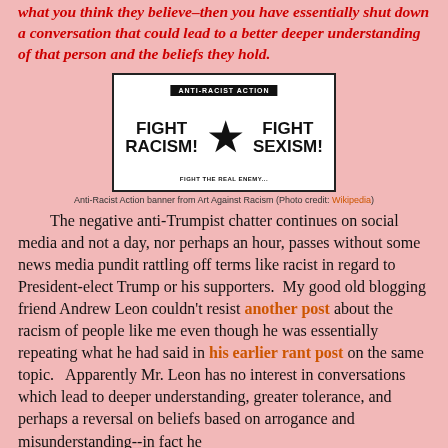what you think they believe–then you have essentially shut down a conversation that could lead to a better deeper understanding of that person and the beliefs they hold.
[Figure (photo): Anti-Racist Action banner showing 'FIGHT RACISM! FIGHT SEXISM!' with a star in the center, labeled 'ANTI-RACIST ACTION' at top and 'FIGHT THE REAL ENEMY...' at bottom]
Anti-Racist Action banner from Art Against Racism (Photo credit: Wikipedia)
The negative anti-Trumpist chatter continues on social media and not a day, nor perhaps an hour, passes without some news media pundit rattling off terms like racist in regard to President-elect Trump or his supporters.  My good old blogging friend Andrew Leon couldn't resist another post about the racism of people like me even though he was essentially repeating what he had said in his earlier rant post on the same topic.   Apparently Mr. Leon has no interest in conversations which lead to deeper understanding, greater tolerance, and perhaps a reversal on beliefs based on arrogance and misunderstanding--in fact he